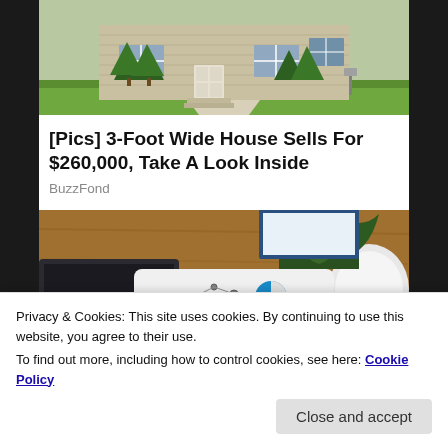[Figure (photo): Exterior photo of a house with siding, front door with steps, evergreen trees, and lawn]
[Pics] 3-Foot Wide House Sells For $260,000, Take A Look Inside
BuzzFond
[Figure (photo): Overhead view of a desk with laptop, plant, and someone holding a tablet showing PERSONAL with icons]
Privacy & Cookies: This site uses cookies. By continuing to use this website, you agree to their use.
To find out more, including how to control cookies, see here: Cookie Policy
Close and accept